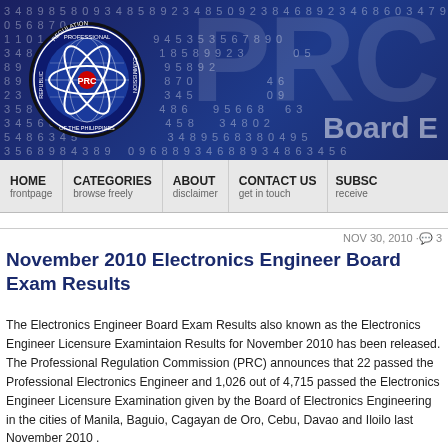[Figure (logo): PRC (Professional Regulation Commission) website header banner with blue background, PRC seal/logo on left, large watermark numbers, large 'PRC' letters and 'Board E' text in background]
HOME frontpage | CATEGORIES browse freely | ABOUT disclaimer | CONTACT US get in touch | SUBSC receive
November 2010 Electronics Engineer Board Exam Results
NOV 30, 2010 · 3
The Electronics Engineer Board Exam Results also known as the Electronics Engineer Licensure Examintaion Results for November 2010 has been released. The Professional Regulation Commission (PRC) announces that 22 passed the Professional Electronics Engineer and 1,026 out of 4,715 passed the Electronics Engineer Licensure Examination given by the Board of Electronics Engineering in the cities of Manila, Baguio, Cagayan de Oro, Cebu, Davao and Iloilo last November 2010 .